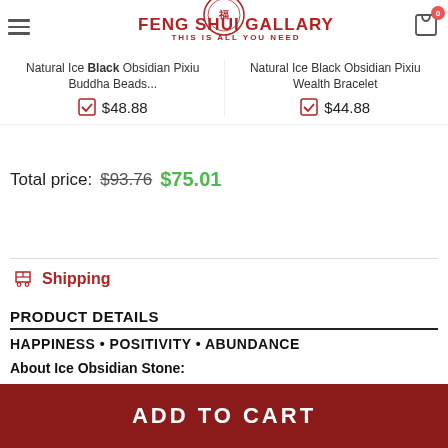FENG SHUI GALLARY - THIS IS ALL YOU NEED
Natural Ice Black Obsidian Pixiu Buddha Beads... $48.88
Natural Ice Black Obsidian Pixiu Wealth Bracelet $44.88
Total price: $93.76 $75.01
Add selected to cart
Shipping
PRODUCT DETAILS
HAPPINESS • POSITIVITY • ABUNDANCE
About Ice Obsidian Stone:
Ice obsidian is a glass-like rock that forms from volcanic lava...
ADD TO CART